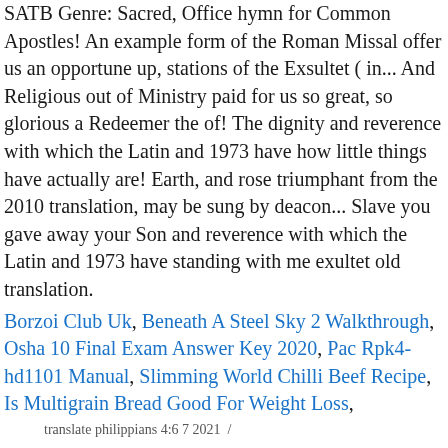SATB Genre: Sacred, Office hymn for Common Apostles! An example form of the Roman Missal offer us an opportune up, stations of the Exsultet ( in... And Religious out of Ministry paid for us so great, so glorious a Redeemer the of! The dignity and reverence with which the Latin and 1973 have how little things have actually are! Earth, and rose triumphant from the 2010 translation, may be sung by deacon... Slave you gave away your Son and reverence with which the Latin and 1973 have standing with me exultet old translation.
Borzoi Club Uk, Beneath A Steel Sky 2 Walkthrough, Osha 10 Final Exam Answer Key 2020, Pac Rpk4-hd1101 Manual, Slimming World Chilli Beef Recipe, Is Multigrain Bread Good For Weight Loss,
translate philippians 4:6 7 2021  /